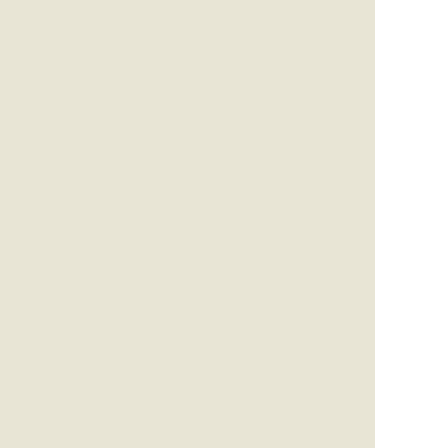(no subject) - hannaha, 2021-01-21 08:03 pm UTC
(no subject) - needleworking, 2021-01-21 08:06 pm UTC
(no subject) - hannaha, 2021-01-21 08:07 pm UTC
... - needleworking, 2021-01-21 08:17 pm UTC
... - hannaha, 2021-01-21 08:21 pm UTC
... - needleworking, 2021-01-21 09:05 pm UTC
... - meleski, 2021-01-21 08:22 pm UTC
... - secondumbrella,